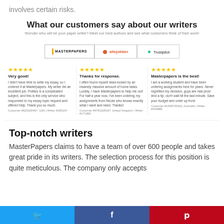involves certain risks.
What our customers say about our writers
Wonder who will be your paper writer? Meet our best authors and see what customers think of their work!
Review tabs: MASTERPAPERS | sitejobber | Trustpilot
★★★★★ Very good!
I didn't have time to write my essay, so I ordered it at Masterpapers. My writer did an excellent job. Politics is a complicated subject, and this is the only service who responded to my essay topic request and offered help. Thank you so much.
Customer #625100467, USA | Writer #185104
★★★★★ Thanks for response.
I often found myself dead-locked by an insanely massive amount of home tasks. Luckily, I have Masterpapers to help me out! For half a year now, I've been ordering my assignments from Nicole who knows exactly what I want and need. Thanks!
Customer #3781228167, United Kingdom | Writer #171269
★★★★★ Masterpapers is the best!
I am a working student and have been ordering assignments here for years. Never regretted my decision, guys are real pros! And a tip: don't wait till the last minute. Save your budget and order up front.
Customer #1958733332, Australia | Writer #233988
Top-notch writers
MasterPapers claims to have a team of over 600 people and takes great pride in its writers. The selection process for this position is quite meticulous. The company only accepts